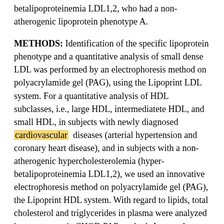betalipoproteinemia LDL1,2, who had a non-atherogenic lipoprotein phenotype A.
METHODS: Identification of the specific lipoprotein phenotype and a quantitative analysis of small dense LDL was performed by an electrophoresis method on polyacrylamide gel (PAG), using the Lipoprint LDL system. For a quantitative analysis of HDL subclasses, i.e., large HDL, intermediatete HDL, and small HDL, in subjects with newly diagnosed cardiovascular diseases (arterial hypertension and coronary heart disease), and in subjects with a non-atherogenic hypercholesterolemia (hyper-betalipoproteinemia LDL1,2), we used an innovative electrophoresis method on polyacrylamide gel (PAG), the Lipoprint HDL system. With regard to lipids, total cholesterol and triglycerides in plasma were analyzed by an enzymatic CHOD PAP method. A control group consisted of a group of healthy normolipidemic volunteers without signs of clinically manifested impairment of the cardiovascular system.
RESULTS: In the patient group with the diagnosis of arterial hypertension (p<0.0002) and coronary heart disease (p<0.0001)